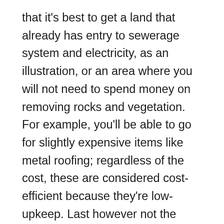that it's best to get a land that already has entry to sewerage system and electricity, as an illustration, or an area where you will not need to spend money on removing rocks and vegetation. For example, you'll be able to go for slightly expensive items like metal roofing; regardless of the cost, these are considered cost-efficient because they're low-upkeep. Last however not the least, make sure that your determination on home designs and plans are closing earlier than the bottom breaking. If ever your price range is estimated to be inadequate, make plans on the best way to design a house in your set budget. Make it a point to know of any zoning laws applied in your area. A 2-storey residence can also fit right in a small piece of land, and it's also possible to use the remaining area for garden, garage, or out of doors